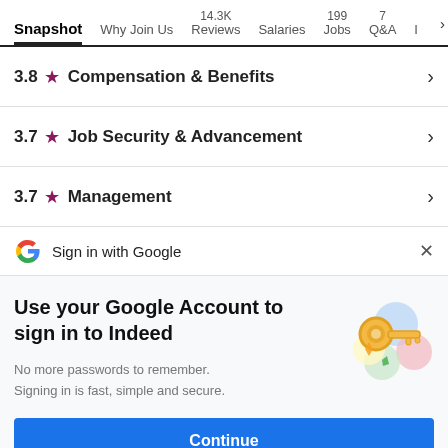Snapshot | Why Join Us | 14.3K Reviews | Salaries | 199 Jobs | 7 Q&A | I >
3.8 ★ Compensation & Benefits >
3.7 ★ Job Security & Advancement >
3.7 ★ Management >
Sign in with Google
Use your Google Account to sign in to Indeed
No more passwords to remember. Signing in is fast, simple and secure.
[Figure (illustration): Colorful key and circles illustration representing Google account security]
Continue